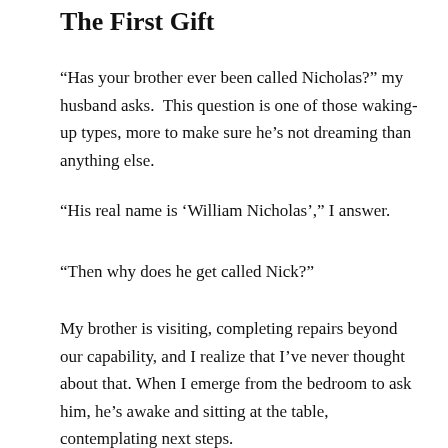The First Gift
“Has your brother ever been called Nicholas?” my husband asks.  This question is one of those waking-up types, more to make sure he’s not dreaming than anything else.
“His real name is ‘William Nicholas’,” I answer.
“Then why does he get called Nick?”
My brother is visiting, completing repairs beyond our capability, and I realize that I’ve never thought about that. When I emerge from the bedroom to ask him, he’s awake and sitting at the table, contemplating next steps.